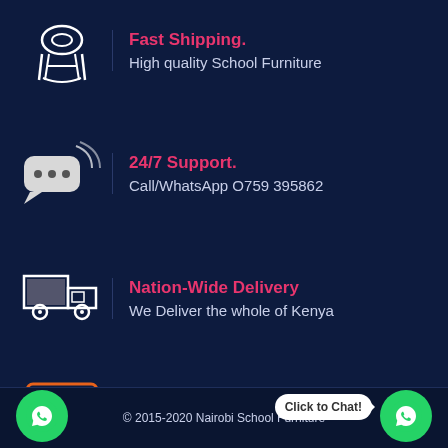Fast Shipping. — High quality School Furniture
24/7 Support. — Call/WhatsApp O759 395862
Nation-Wide Delivery — We Deliver the whole of Kenya
Our Team — We have an Amazing team.
© 2015-2020 Nairobi School Furniture